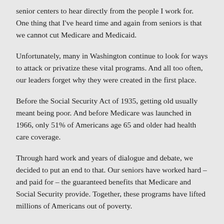senior centers to hear directly from the people I work for. One thing that I've heard time and again from seniors is that we cannot cut Medicare and Medicaid.
Unfortunately, many in Washington continue to look for ways to attack or privatize these vital programs. And all too often, our leaders forget why they were created in the first place.
Before the Social Security Act of 1935, getting old usually meant being poor. And before Medicare was launched in 1966, only 51% of Americans age 65 and older had health care coverage.
Through hard work and years of dialogue and debate, we decided to put an end to that. Our seniors have worked hard – and paid for – the guaranteed benefits that Medicare and Social Security provide. Together, these programs have lifted millions of Americans out of poverty.